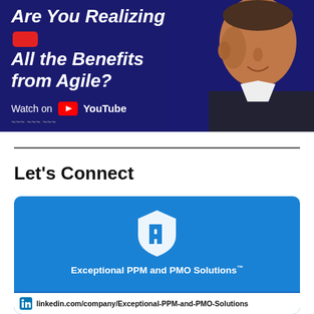[Figure (photo): YouTube thumbnail banner with dark navy background, bold white italic text 'Are You Realizing All the Benefits from Agile?' with a red blob, 'Watch on YouTube' logo, and a man in a suit on the right side.]
Let's Connect
[Figure (logo): LinkedIn company card with blue background showing Exceptional PPM logo (stylized white badge icon) and text 'Exceptional PPM and PMO Solutions™', with a white bar at the bottom showing linkedin.com/company/Exceptional-PPM-and-PMO-Solutions]
linkedin.com/company/Exceptional-PPM-and-PMO-Solutions